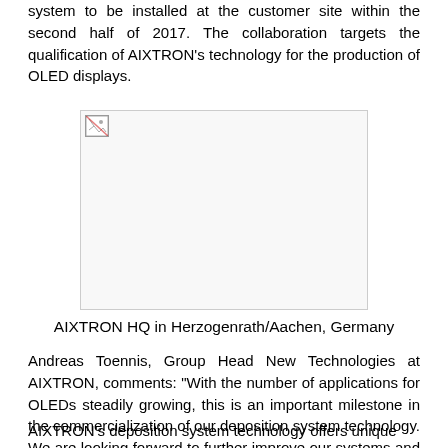system to be installed at the customer site within the second half of 2017. The collaboration targets the qualification of AIXTRON's technology for the production of OLED displays.
[Figure (photo): Photo of AIXTRON HQ building in Herzogenrath/Aachen, Germany (image not loaded, shown as broken image placeholder)]
AIXTRON HQ in Herzogenrath/Aachen, Germany
Andreas Toennis, Group Head New Technologies at AIXTRON, comments: “With the number of applications for OLEDs steadily growing, this is an important milestone in the commercialization of our deposition system technology. We are looking forward to further improve our systems and processes in close collaboration with our customer.”
AIXTRON’s deposition system technology offers unique